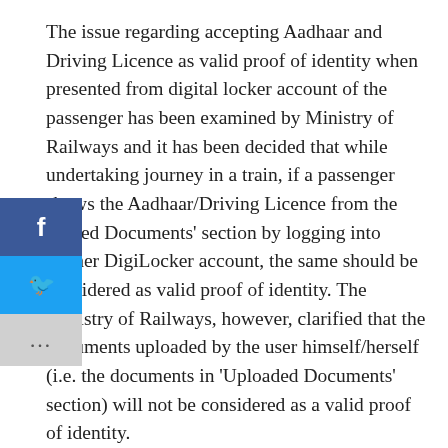The issue regarding accepting Aadhaar and Driving Licence as valid proof of identity when presented from digital locker account of the passenger has been examined by Ministry of Railways and it has been decided that while undertaking journey in a train, if a passenger shows the Aadhaar/Driving Licence from the 'Issued Documents' section by logging into his/her DigiLocker account, the same should be considered as valid proof of identity. The Ministry of Railways, however, clarified that the documents uploaded by the user himself/herself (i.e. the documents in 'Uploaded Documents' section) will not be considered as a valid proof of identity.